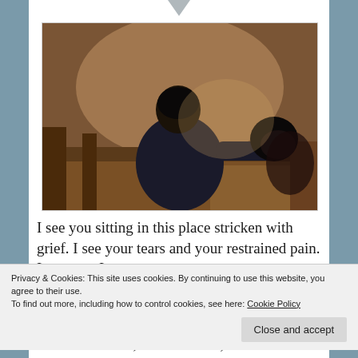[Figure (photo): Two people seated on a church pew viewed from behind. One person leans their head on the other's shoulder in a gesture of grief or comfort. Wooden pews are visible in a church interior with warm brown tones.]
I see you sitting in this place stricken with grief. I see your tears and your restrained pain. I see you. I
Privacy & Cookies: This site uses cookies. By continuing to use this website, you agree to their use.
To find out more, including how to control cookies, see here: Cookie Policy
more strife here; no more hate, no more loneliness.